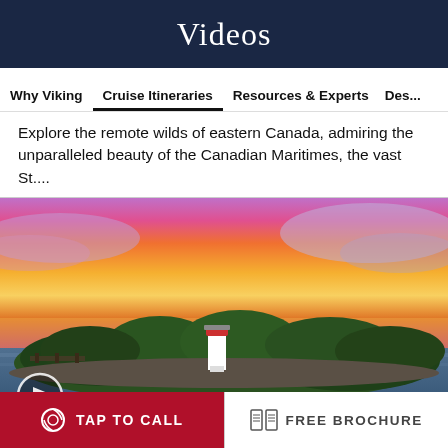Videos
Why Viking    Cruise Itineraries    Resources & Experts    Des...
Explore the remote wilds of eastern Canada, admiring the unparalleled beauty of the Canadian Maritimes, the vast St....
[Figure (photo): Aerial photo of a rocky island with a white lighthouse, dense forest, and a dramatic orange-pink sunset sky over calm water.]
TAP TO CALL
FREE BROCHURE